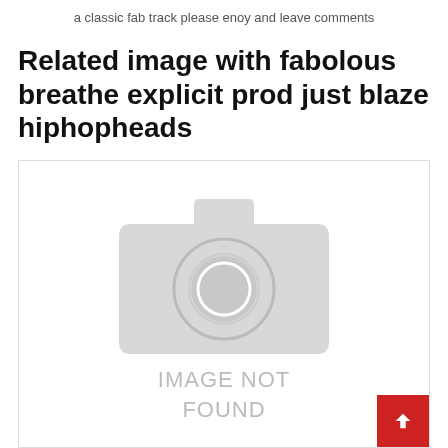a classic fab track please enoy and leave comments
Related image with fabolous breathe explicit prod just blaze hiphopheads
[Figure (other): Image not found placeholder with camera icon and text IMAGE NOT FOUND on grey background inside a bordered box]